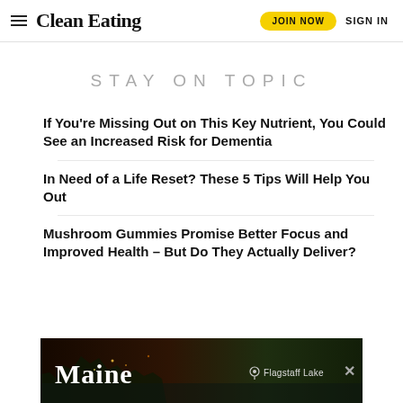Clean Eating | JOIN NOW | SIGN IN
STAY ON TOPIC
If You're Missing Out on This Key Nutrient, You Could See an Increased Risk for Dementia
In Need of a Life Reset? These 5 Tips Will Help You Out
Mushroom Gummies Promise Better Focus and Improved Health – But Do They Actually Deliver?
[Figure (photo): Advertisement banner for Maine tourism featuring Flagstaff Lake with dark forest/nature imagery and a close button]